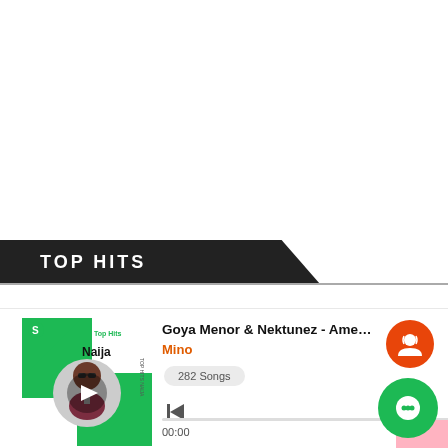TOP HITS
[Figure (screenshot): Music player card showing album art for 'Top Hits Naija' playlist with a man in sunglasses and suit, green Spotify-style design with play button overlay]
Goya Menor & Nektunez - Amen...
Mino
282 Songs
00:00